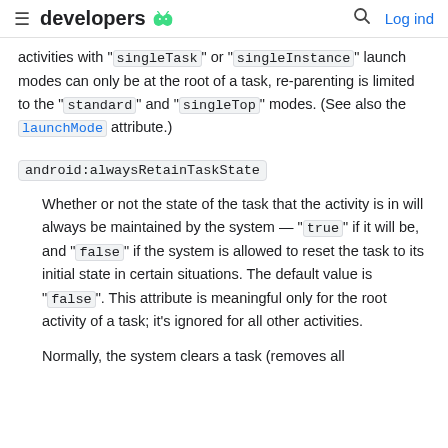developers [android logo] | [search icon] Log ind
activities with "singleTask" or "singleInstance" launch modes can only be at the root of a task, re-parenting is limited to the "standard" and "singleTop" modes. (See also the launchMode attribute.)
android:alwaysRetainTaskState
Whether or not the state of the task that the activity is in will always be maintained by the system — "true" if it will be, and "false" if the system is allowed to reset the task to its initial state in certain situations. The default value is "false". This attribute is meaningful only for the root activity of a task; it's ignored for all other activities.
Normally, the system clears a task (removes all